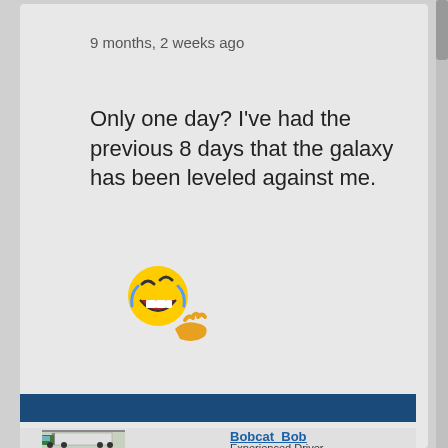9 months, 2 weeks ago
Only one day? I've had the previous 8 days that the galaxy has been leveled against me.
[Figure (illustration): Rolling on the floor laughing emoji with a small hand/paw gesture beneath it]
[Figure (photo): Profile avatar photo showing a model toy truck with a white refrigerated trailer]
Bobcat_Bob
Experienced Driver
Posts: 2265